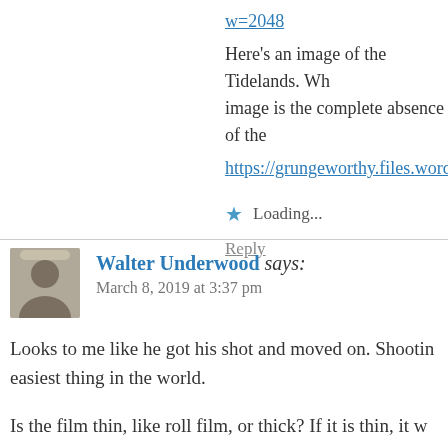w=2048
Here's an image of the Tidelands. Wh... image is the complete absence of the ...
https://grungeworthy.files.wordpress....
Loading...
Reply
Walter Underwood says: March 8, 2019 at 3:37 pm
Looks to me like he got his shot and moved on. Shootin... easiest thing in the world.
Is the film thin, like roll film, or thick? If it is thin, it w... you could pull a tab to move the next negative into pla...
Finally, I can't find a likely sheet film notch code for tv...